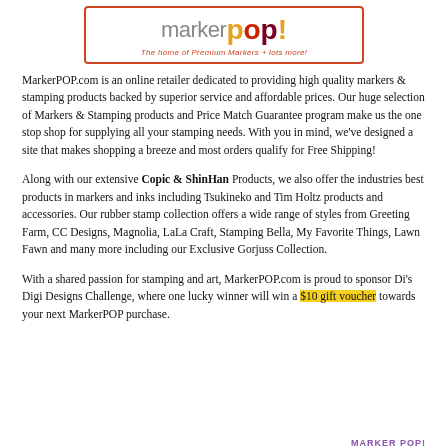[Figure (logo): MarkerPOP! logo with tagline 'The home of Premium Markers + lots more!' in an orange-bordered box]
MarkerPOP.com is an online retailer dedicated to providing high quality markers & stamping products backed by superior service and affordable prices. Our huge selection of Markers & Stamping products and Price Match Guarantee program make us the one stop shop for supplying all your stamping needs. With you in mind, we've designed a site that makes shopping a breeze and most orders qualify for Free Shipping!
Along with our extensive Copic & ShinHan Products, we also offer the industries best products in markers and inks including Tsukineko and Tim Holtz products and accessories. Our rubber stamp collection offers a wide range of styles from Greeting Farm, CC Designs, Magnolia, LaLa Craft, Stamping Bella, My Favorite Things, Lawn Fawn and many more including our Exclusive Gorjuss Collection.
With a shared passion for stamping and art, MarkerPOP.com is proud to sponsor Di's Digi Designs Challenge, where one lucky winner will win a $10 gift voucher towards your next MarkerPOP purchase.
MARKER POP!